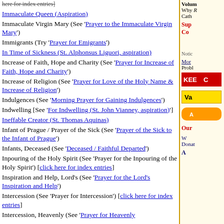Immaculate Queen (Aspiration)
Immaculate Virgin Mary (See 'Prayer to the Immaculate Virgin Mary')
Immigrants (Try 'Prayer for Emigrants')
In Time of Sickness (St. Alphonsus Liguori, aspiration)
Increase of Faith, Hope and Charity (See 'Prayer for Increase of Faith, Hope and Charity')
Increase of Religion (See 'Prayer for Love of the Holy Name & Increase of Religion')
Indulgences (See 'Morning Prayer for Gaining Indulgences')
Indwelling [See 'For Indwelling (St. John Vianney, aspiration)']
Ineffable Creator (St. Thomas Aquinas)
Infant of Prague / Prayer of the Sick (See 'Prayer of the Sick to the Infant of Prague')
Infants, Deceased (See 'Deceased / Faithful Departed')
Inpouring of the Holy Spirit (See 'Prayer for the Inpouring of the Holy Spirit') [click here for index entries]
Inspiration and Help, Lord's (See 'Prayer for the Lord's Inspiration and Help')
Intercession (See 'Prayer for Intercession') [click here for index entries]
Intercession, Heavenly (See 'Prayer for Heavenly...